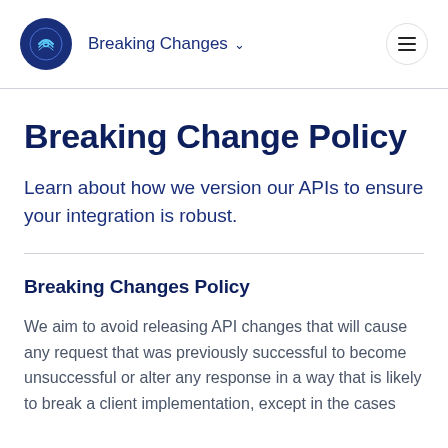Breaking Changes
Breaking Change Policy
Learn about how we version our APIs to ensure your integration is robust.
Breaking Changes Policy
We aim to avoid releasing API changes that will cause any request that was previously successful to become unsuccessful or alter any response in a way that is likely to break a client implementation, except in the cases